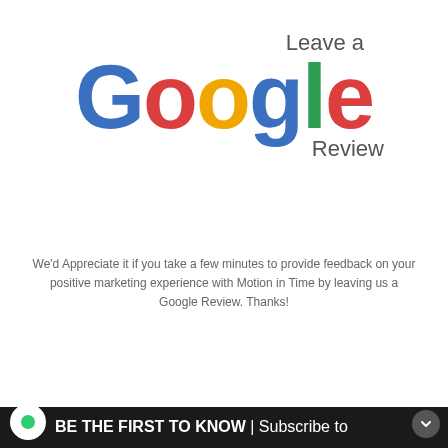[Figure (logo): Google logo with 'Leave a Google Review' text. The word 'Google' is rendered in the Google brand colors (blue G, red o, yellow o, blue g, green l, red e). Above is 'Leave a' in gray, below right is 'Review' in gray.]
We'd Appreciate it if you take a few minutes to provide feedback on your positive marketing experience with Motion in Time by leaving us a Google Review. Thanks!
Leave a Review
BE THE FIRST TO KNOW | Subscribe to